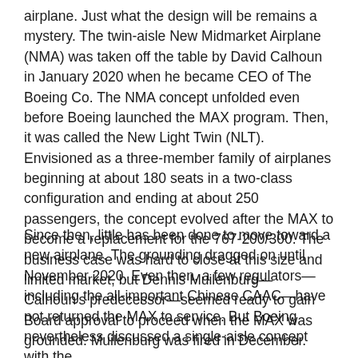airplane. Just what the design will be remains a mystery. The twin-aisle New Midmarket Airplane (NMA) was taken off the table by David Calhoun in January 2020 when he became CEO of The Boeing Co. The NMA concept unfolded even before Boeing launched the MAX program. Then, it was called the New Light Twin (NLT). Envisioned as a three-member family of airplanes beginning at about 180 seats in a two-class configuration and ending at about 250 passengers, the concept evolved after the MAX to become a replacement for the 767-200/300. The business case was hard to close at this size and limited market, but Dennis Muilenburg—Calhoun's predecessor—seemed ready to gain Board approval to proceed when the MAX was grounded. Muilenburg was fired in December.
Since then, little has been done to move toward a new airplane. The grounding dragged on until November 2020. Even then, a few regulators—including the all-important Chinese CAAC—have not returned the MAX to service. But Boeing nevertheless discussed a single-aisle concept with the